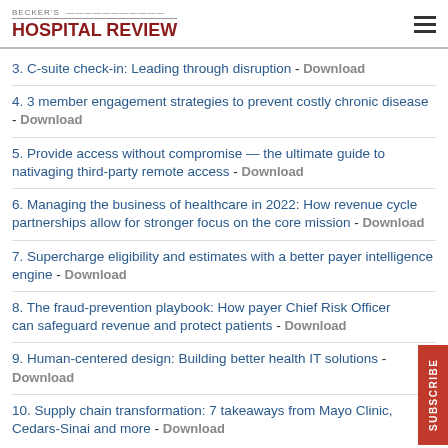BECKER'S HOSPITAL REVIEW
3. C-suite check-in: Leading through disruption - Download
4. 3 member engagement strategies to prevent costly chronic disease - Download
5. Provide access without compromise — the ultimate guide to nativaging third-party remote access - Download
6. Managing the business of healthcare in 2022: How revenue cycle partnerships allow for stronger focus on the core mission - Download
7. Supercharge eligibility and estimates with a better payer intelligence engine - Download
8. The fraud-prevention playbook: How payer Chief Risk Officer can safeguard revenue and protect patients - Download
9. Human-centered design: Building better health IT solutions - Download
10. Supply chain transformation: 7 takeaways from Mayo Clinic, Cedars-Sinai and more - Download